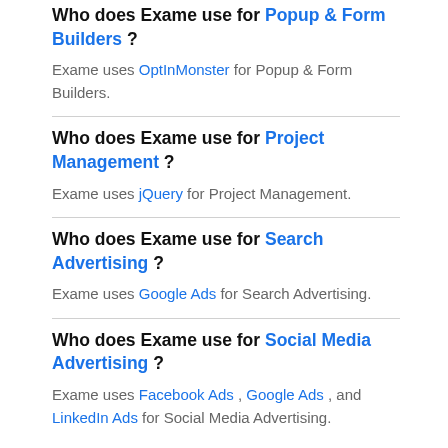Who does Exame use for Popup & Form Builders ?
Exame uses OptInMonster for Popup & Form Builders.
Who does Exame use for Project Management ?
Exame uses jQuery for Project Management.
Who does Exame use for Search Advertising ?
Exame uses Google Ads for Search Advertising.
Who does Exame use for Social Media Advertising ?
Exame uses Facebook Ads , Google Ads , and LinkedIn Ads for Social Media Advertising.